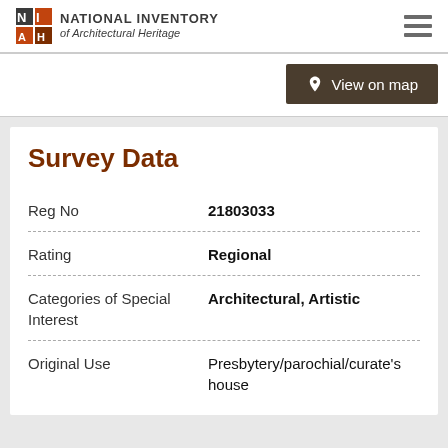National Inventory of Architectural Heritage
Survey Data
| Field | Value |
| --- | --- |
| Reg No | 21803033 |
| Rating | Regional |
| Categories of Special Interest | Architectural, Artistic |
| Original Use | Presbytery/parochial/curate's house |